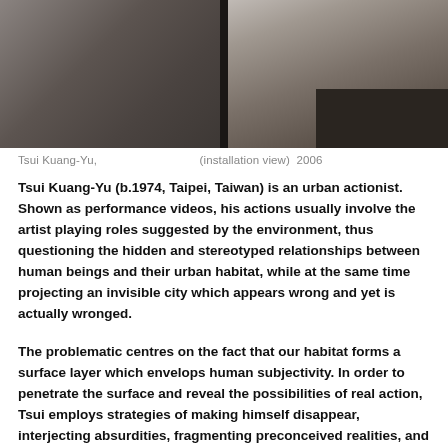[Figure (photo): Installation view photograph showing two white geometric forms or walls in a gallery space with grey floor, split into two panels by a dark divider.]
Tsui Kuang-Yu,                              (installation view)  2006
Tsui Kuang-Yu (b.1974, Taipei, Taiwan) is an urban actionist. Shown as performance videos, his actions usually involve the artist playing roles suggested by the environment, thus questioning the hidden and stereotyped relationships between human beings and their urban habitat, while at the same time projecting an invisible city which appears wrong and yet is actually wronged.
The problematic centres on the fact that our habitat forms a surface layer which envelops human subjectivity. In order to penetrate the surface and reveal the possibilities of real action, Tsui employs strategies of making himself disappear, interjecting absurdities, fragmenting preconceived realities, and superimposing alternative sets of behaviour codes embedded in existing social structures.
For                              Tsui Kuang-yu's films evaluated the function of mundane elements of the city that we use daily but would never